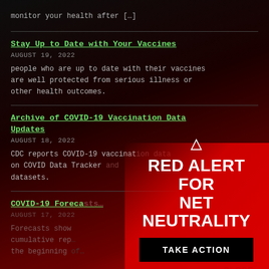monitor your health after […]
Stay Up to Date with Your Vaccines
AUGUST 19, 2022
people who are up to date with their vaccines are well protected from serious illness or other health outcomes.
Archive of COVID-19 Vaccination Data Updates
AUGUST 18, 2022
CDC reports COVID-19 vaccination data on COVID Data Tracker and datasets.
COVID-19 Forecas…
AUGUST 17, 2022
Forecasts show cumulative rep… the beginning of…
[Figure (infographic): Red Alert for Net Neutrality overlay banner with warning triangle icon, bold white text reading RED ALERT FOR NET NEUTRALITY, a black TAKE ACTION button, and a red CLOSE link in the bottom right corner.]